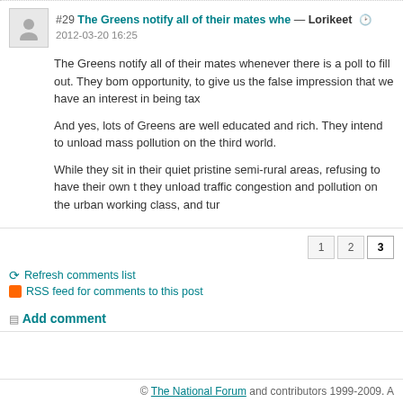#29 The Greens notify all of their mates whe — Lorikeet 2012-03-20 16:25
The Greens notify all of their mates whenever there is a poll to fill out. They bom opportunity, to give us the false impression that we have an interest in being tax
And yes, lots of Greens are well educated and rich. They intend to unload mass pollution on the third world.
While they sit in their quiet pristine semi-rural areas, refusing to have their own t they unload traffic congestion and pollution on the urban working class, and tur
Refresh comments list
RSS feed for comments to this post
Add comment
© The National Forum and contributors 1999-2009. A